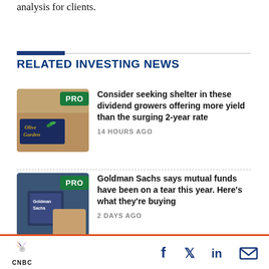analysis for clients.
RELATED INVESTING NEWS
[Figure (photo): Olive Garden sign photo with PRO badge overlay]
Consider seeking shelter in these dividend growers offering more yield than the surging 2-year rate
14 HOURS AGO
[Figure (photo): Goldman Sachs signage photo with PRO badge overlay]
Goldman Sachs says mutual funds have been on a tear this year. Here’s what they’re buying
2 DAYS AGO
CNBC